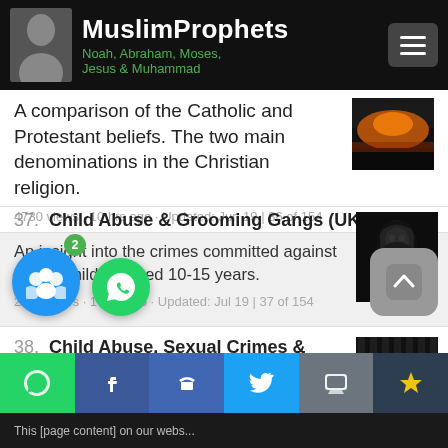MuslimProphets — Noah, Abraham, Moses, Jesus & Muhammad
A comparison of the Catholic and Protestant beliefs. The two main denominations in the Christian religion.
4730 views · 10 hrs ago · Updated: Jun 19 | 36 of 154
37. Child Abuse & Grooming Gangs (UK)
An insight into the crimes committed against British children aged 10-15 years.
2680 views · 1 day ago · Updated: Jul 19 | 37 of 154
38. Child Abuse, Sexual Crimes & Prison Figures (UK)
An insight into official UK prisoner numbers, and ethnic backgrounds in relation to Se...
This [page content] on our webs[ite]